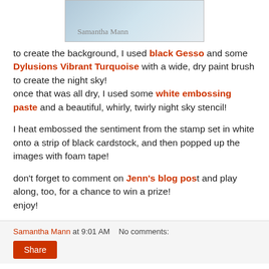[Figure (photo): Partial image of a craft card with a night sky theme, signed 'Samantha Mann' in cursive]
to create the background, I used black Gesso and some Dylusions Vibrant Turquoise with a wide, dry paint brush to create the night sky! once that was all dry, I used some white embossing paste and a beautiful, whirly, twirly night sky stencil!
I heat embossed the sentiment from the stamp set in white onto a strip of black cardstock, and then popped up the images with foam tape!
don't forget to comment on Jenn's blog post and play along, too, for a chance to win a prize! enjoy!
Samantha Mann at 9:01 AM   No comments: